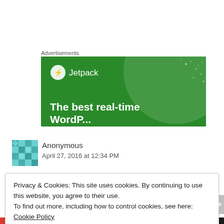Advertisements
[Figure (illustration): Jetpack advertisement banner on green background with circular shape and dots. Shows Jetpack logo with lightning bolt icon and text: 'The best real-time [WordPress backup]']
[Figure (illustration): Teal/green geometric quilt-pattern avatar icon for Anonymous commenter]
Anonymous
April 27, 2016 at 12:34 PM
Privacy & Cookies: This site uses cookies. By continuing to use this website, you agree to their use.
To find out more, including how to control cookies, see here: Cookie Policy